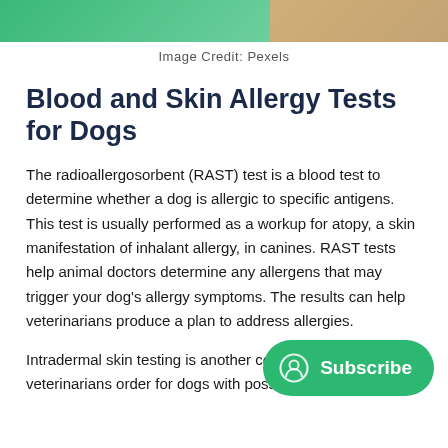[Figure (photo): Top portion of a photo showing a dog being examined or petted, with green and tan/brown tones visible]
Image Credit: Pexels
Blood and Skin Allergy Tests for Dogs
The radioallergosorbent (RAST) test is a blood test to determine whether a dog is allergic to specific antigens. This test is usually performed as a workup for atopy, a skin manifestation of inhalant allergy, in canines. RAST tests help animal doctors determine any allergens that may trigger your dog's allergy symptoms. The results can help veterinarians produce a plan to address allergies.
Intradermal skin testing is another common tool that veterinarians order for dogs with possible skin